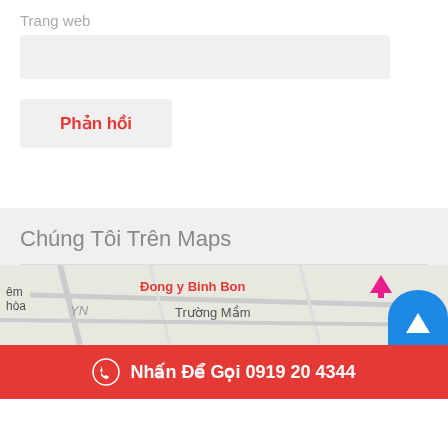Trang web
Phản hồi
Chúng Tôi Trên Maps
[Figure (map): Map showing location of Dong y Binh Bon and Trường Mầm nearby]
Nhấn Để Gọi 0919 20 4344